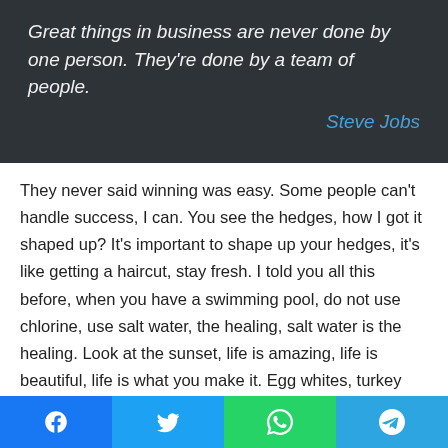Great things in business are never done by one person. They're done by a team of people.
Steve Jobs
They never said winning was easy. Some people can't handle success, I can. You see the hedges, how I got it shaped up? It's important to shape up your hedges, it's like getting a haircut, stay fresh. I told you all this before, when you have a swimming pool, do not use chlorine, use salt water, the healing, salt water is the healing. Look at the sunset, life is amazing, life is beautiful, life is what you make it. Egg whites, turkey sausage, wheat toast, water. Of course they don't want us to eat our breakfast, so we are going to enjoy our breakfast.
[Figure (infographic): Social sharing bar with Facebook, Twitter, WhatsApp, and Telegram buttons]